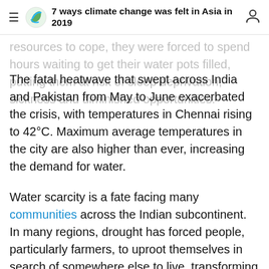7 ways climate change was felt in Asia in 2019
resources to cope, they were forced to spend hours waiting to get their water pots filled, putting them at risk of sleep deprivation, sickness and diminished opportunities.
The fatal heatwave that swept across India and Pakistan from May to June exacerbated the crisis, with temperatures in Chennai rising to 42°C. Maximum average temperatures in the city are also higher than ever, increasing the demand for water.
Water scarcity is a fate facing many communities across the Indian subcontinent. In many regions, drought has forced people, particularly farmers, to uproot themselves in search of somewhere else to live, transforming once-lush paddy fields into abandoned farmland scarred by dried riverbeds.
As the climate changes, urban water crises like